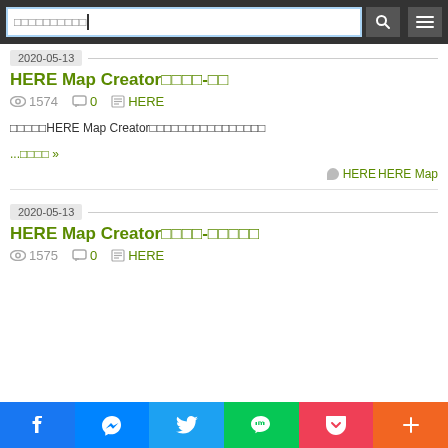Search bar and navigation menu
2020-05-13
HERE Map Creator□□□□-□□
1574  0  HERE
□□□□□HERE Map Creator□□□□□□□□□□□□□□□□
...□□□□ »
HERE HERE Map
2020-05-13
HERE Map Creator□□□□-□□□□□
1575  0  HERE
f  messenger  twitter  LINE  pocket  +